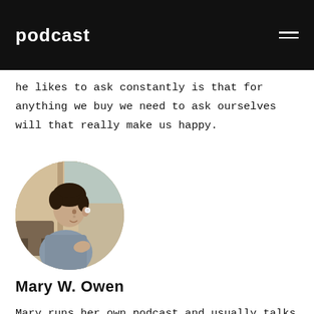podcast
he likes to ask constantly is that for anything we buy we need to ask ourselves will that really make us happy.
[Figure (photo): Circular portrait photo of Mary W. Owen, a woman with curly hair wearing earbuds and holding a device, photographed from the side in an outdoor setting.]
Mary W. Owen
Mary runs her own podcast and usually talks about minimalism and how to simplify your life. The main question